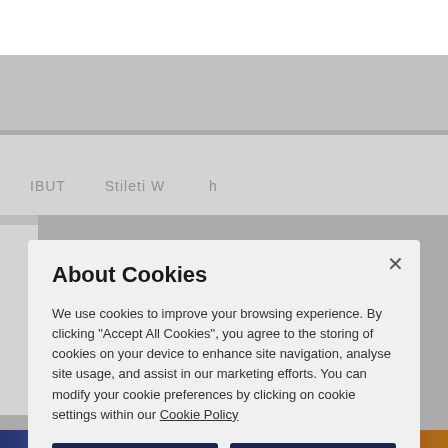[Figure (screenshot): Website screenshot background showing a partially visible page header and content behind a cookie consent modal overlay]
About Cookies
We use cookies to improve your browsing experience. By clicking "Accept All Cookies", you agree to the storing of cookies on your device to enhance site navigation, analyse site usage, and assist in our marketing efforts. You can modify your cookie preferences by clicking on cookie settings within our Cookie Policy
Accept All Cookies
Reject All
Set your preferences